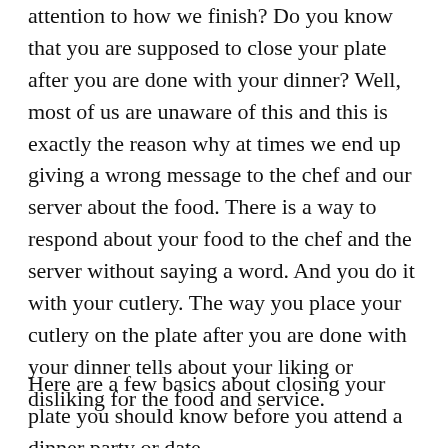attention to how we finish? Do you know that you are supposed to close your plate after you are done with your dinner? Well, most of us are unaware of this and this is exactly the reason why at times we end up giving a wrong message to the chef and our server about the food. There is a way to respond about your food to the chef and the server without saying a word. And you do it with your cutlery. The way you place your cutlery on the plate after you are done with your dinner tells about your liking or disliking for the food and service.
Here are a few basics about closing your plate you should know before you attend a dinner party or date.